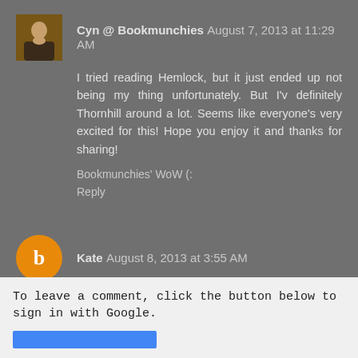Cyn @ Bookmunchies August 7, 2013 at 11:29 AM
I tried reading Hemlock, but it just ended up not being my thing unfortunately. But I'v definitely Thornhill around a lot. Seems like everyone's very excited for this! Hope you enjoy it and thanks for sharing!
Bookmunchies' WoW (:
Reply
Kate August 8, 2013 at 3:55 AM
Great choice! I can't wait for this either : )
my WOW and giveaway
Reply
To leave a comment, click the button below to sign in with Google.